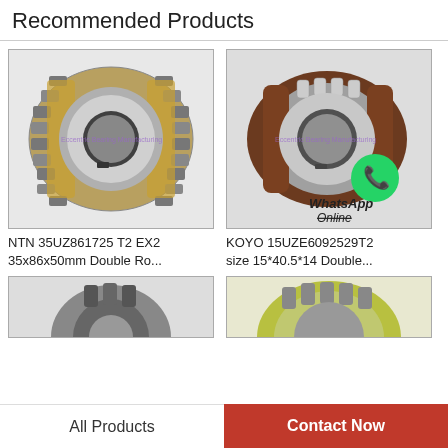Recommended Products
[Figure (photo): NTN 35UZ861725 T2 EX2 double row eccentric bearing, gold/silver cylindrical rollers]
NTN 35UZ861725 T2 EX2 35x86x50mm Double Ro...
[Figure (photo): KOYO 15UZE6092529T2 eccentric bearing, brown/silver, with WhatsApp Online overlay]
KOYO 15UZE6092529T2 size 15*40.5*14 Double...
[Figure (photo): Partially visible eccentric bearing product image (bottom left)]
[Figure (photo): Partially visible eccentric bearing product image (bottom right, yellow/green)]
All Products
Contact Now